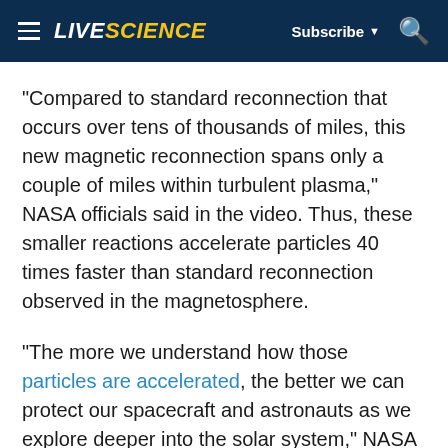LIVESCIENCE | Subscribe | Search
"Compared to standard reconnection that occurs over tens of thousands of miles, this new magnetic reconnection spans only a couple of miles within turbulent plasma," NASA officials said in the video. Thus, these smaller reactions accelerate particles 40 times faster than standard reconnection observed in the magnetosphere.
"The more we understand how those particles are accelerated, the better we can protect our spacecraft and astronauts as we explore deeper into the solar system," NASA officials added.
However, MMS instruments cannot capture turbulent